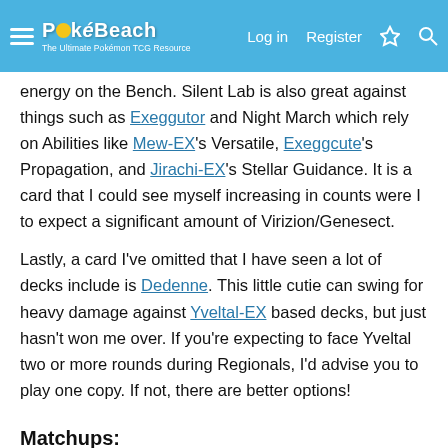PokéBeach — Log in | Register
energy on the Bench. Silent Lab is also great against things such as Exeggutor and Night March which rely on Abilities like Mew-EX's Versatile, Exeggcute's Propagation, and Jirachi-EX's Stellar Guidance. It is a card that I could see myself increasing in counts were I to expect a significant amount of Virizion/Genesect.
Lastly, a card I've omitted that I have seen a lot of decks include is Dedenne. This little cutie can swing for heavy damage against Yveltal-EX based decks, but just hasn't won me over. If you're expecting to face Yveltal two or more rounds during Regionals, I'd advise you to play one copy. If not, there are better options!
Matchups: